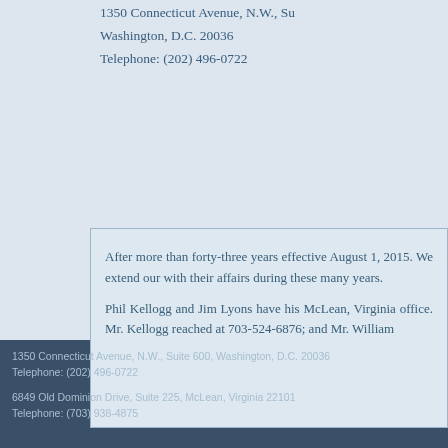1350 Connecticut Avenue, N.W., Su
Washington, D.C. 20036
Telephone: (202) 496-0722
After more than forty-three years effective August 1, 2015. We extend our with their affairs during these many years
Phil Kellogg and Jim Lyons have his McLean, Virginia office. Mr. Kellogg reached at 703-524-6876; and Mr. William
1350 Connecticut Avenue, N.W., Suite 600, Washington, D.C. 20036
Telephone: (202) 496-0722
6849 Old Dominion Drive, Suite 225, McLean, Virginia 22101
Telephone: (703) 938-4875